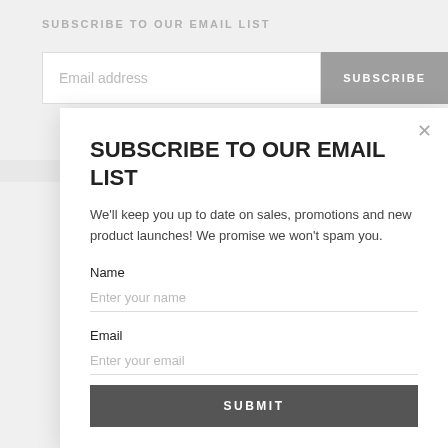SUBSCRIBE TO OUR EMAIL LIST
[Figure (screenshot): Email subscription input field with placeholder 'Email address' and a grey SUBSCRIBE button]
SUBSCRIBE TO OUR EMAIL LIST
We'll keep you up to date on sales, promotions and new product launches! We promise we won't spam you.
Name
Enter your name
Email
Enter your email
SUBMIT